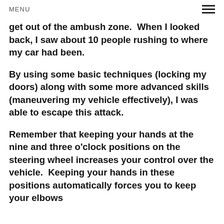MENU
get out of the ambush zone.  When I looked back, I saw about 10 people rushing to where my car had been.
By using some basic techniques (locking my doors) along with some more advanced skills (maneuvering my vehicle effectively), I was able to escape this attack.
Remember that keeping your hands at the nine and three o'clock positions on the steering wheel increases your control over the vehicle.  Keeping your hands in these positions automatically forces you to keep your elbows